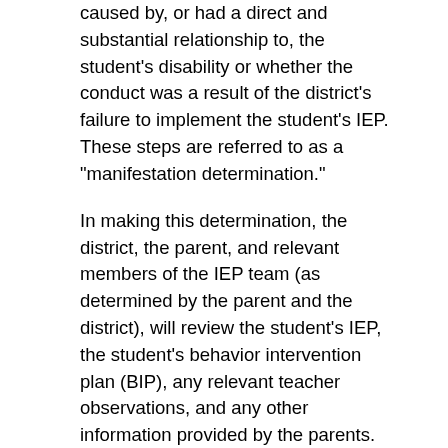caused by, or had a direct and substantial relationship to, the student's disability or whether the conduct was a result of the district's failure to implement the student's IEP. These steps are referred to as a "manifestation determination."
In making this determination, the district, the parent, and relevant members of the IEP team (as determined by the parent and the district), will review the student's IEP, the student's behavior intervention plan (BIP), any relevant teacher observations, and any other information provided by the parents.
Conduct IS a Manifestation of Student's Disability:
If the IEP team finds that the student's behavior was caused by or had a direct and substantial relationship to the student's disability, or that the